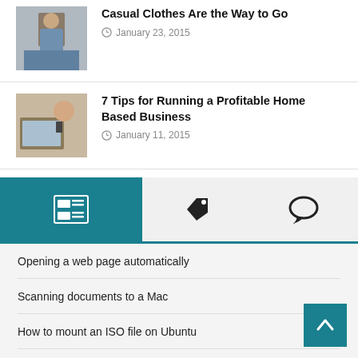[Figure (photo): Woman in casual clothes on street]
Casual Clothes Are the Way to Go
January 23, 2015
[Figure (photo): Woman working from home on phone]
7 Tips for Running a Profitable Home Based Business
January 11, 2015
[Figure (other): Tab bar with newspaper, tag, and chat icons]
Opening a web page automatically
Scanning documents to a Mac
How to mount an ISO file on Ubuntu
How to convert quattro pro for windows to excel
How to choose a good sports sunglasses, what you should know?